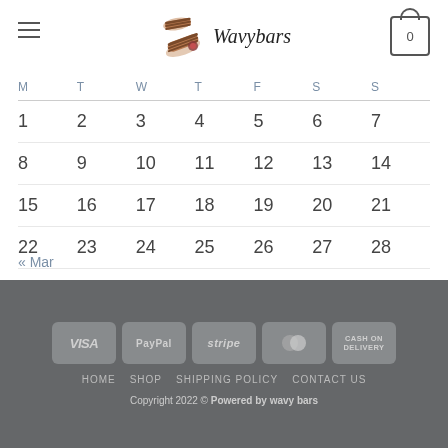Wavybars
| M | T | W | T | F | S | S |
| --- | --- | --- | --- | --- | --- | --- |
| 1 | 2 | 3 | 4 | 5 | 6 | 7 |
| 8 | 9 | 10 | 11 | 12 | 13 | 14 |
| 15 | 16 | 17 | 18 | 19 | 20 | 21 |
| 22 | 23 | 24 | 25 | 26 | 27 | 28 |
| 29 | 30 | 31 |  |  |  |  |
« Mar
VISA  PayPal  stripe  MasterCard  CASH ON DELIVERY
HOME  SHOP  SHIPPING POLICY  CONTACT US
Copyright 2022 © Powered by wavy bars